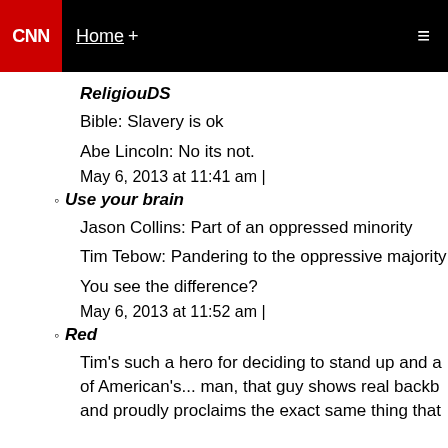CNN | Home +
ReligiouDS
Bible: Slavery is ok

Abe Lincoln: No its not.

May 6, 2013 at 11:41 am |
Use your brain
Jason Collins: Part of an oppressed minority

Tim Tebow: Pandering to the oppressive majority

You see the difference?

May 6, 2013 at 11:52 am |
Red
Tim's such a hero for deciding to stand up and a of American's... man, that guy shows real backb and proudly proclaims the exact same thing that